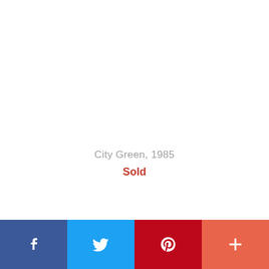City Green, 1985
Sold
[Figure (other): Social media sharing bar with four buttons: Facebook (blue), Twitter (light blue), Pinterest (red), and a More/Plus button (coral/orange-red)]